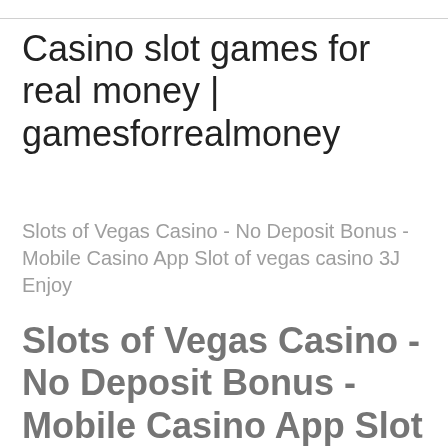Casino slot games for real money | gamesforrealmoney
Slots of Vegas Casino - No Deposit Bonus - Mobile Casino App Slot of vegas casino 3J Enjoy
Slots of Vegas Casino - No Deposit Bonus - Mobile Casino App Slot of vegas